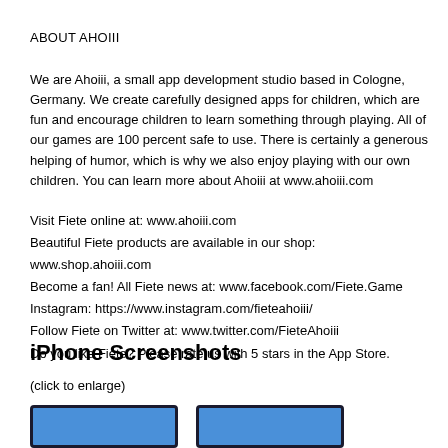ABOUT AHOIII
We are Ahoiii, a small app development studio based in Cologne, Germany. We create carefully designed apps for children, which are fun and encourage children to learn something through playing. All of our games are 100 percent safe to use. There is certainly a generous helping of humor, which is why we also enjoy playing with our own children. You can learn more about Ahoiii at www.ahoiii.com
Visit Fiete online at: www.ahoiii.com
Beautiful Fiete products are available in our shop: www.shop.ahoiii.com
Become a fan! All Fiete news at: www.facebook.com/Fiete.Game
Instagram: https://www.instagram.com/fieteahoiii/
Follow Fiete on Twitter at: www.twitter.com/FieteAhoiii
Do you like Fiete? Please rate us with 5 stars in the App Store.
iPhone Screenshots
(click to enlarge)
[Figure (screenshot): Two iPhone screenshot thumbnails showing the Fiete app]